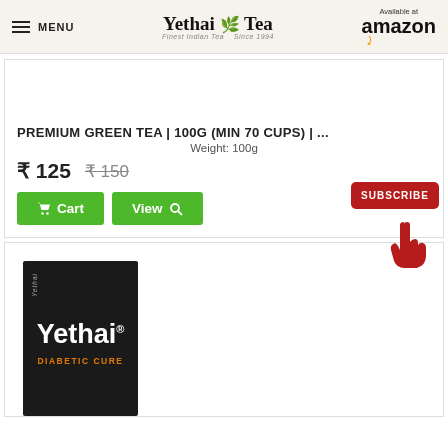≡ MENU | Yethai Tea – Finest Indian Tea Since 1994 | Available at amazon
PREMIUM GREEN TEA | 100G (MIN 70 CUPS) | ...
Weight: 100g
₹ 125  ₹150 (strikethrough)
[Figure (screenshot): Cart button (green) and View button (green) with subscribe button (red) and cursor hand icon]
[Figure (photo): Yethai Diabetic Cure tea box – black packaging with Yethai brand name in white and DIABETIC CURE in orange text]